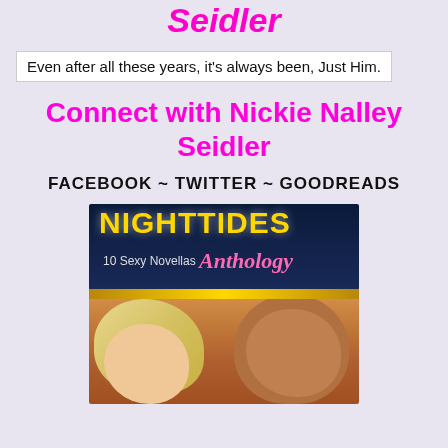Seidler
Even after all these years, it's always been, Just Him.
Connect with Nickie Nalley Seidler
FACEBOOK ~ TWITTER ~ GOODREADS
[Figure (photo): Book cover for NIGHTTIDES: 10 Sexy Novellas Anthology, showing a couple about to kiss, woman with blonde hair on left, man on right, dark navy top band with gold NIGHTTIDES title text, gold bar separator, photo of couple below]